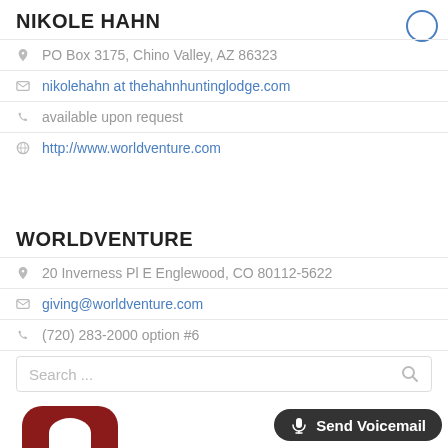NIKOLE HAHN
PO Box 3175, Chino Valley, AZ 86323
nikolehahn at thehahnhuntinglodge.com
available upon request
http://www.worldventure.com
WORLDVENTURE
20 Inverness Pl E Englewood, CO 80112-5622
giving@worldventure.com
(720) 283-2000 option #6
http://give.worldventure.com
Search ...
Send Voicemail